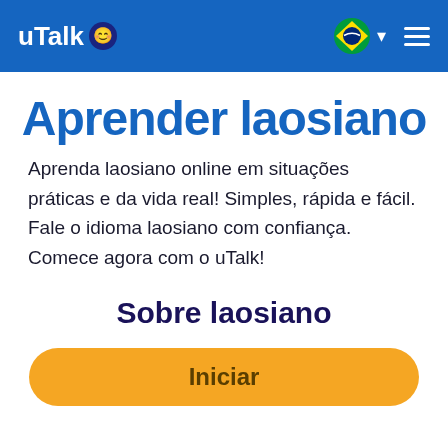uTalk
Aprender laosiano
Aprenda laosiano online em situações práticas e da vida real! Simples, rápida e fácil. Fale o idioma laosiano com confiança. Comece agora com o uTalk!
Sobre laosiano
Iniciar